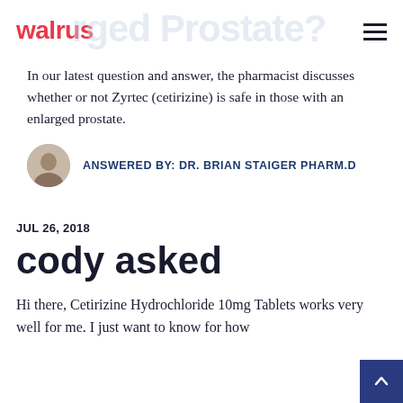walrus
Enlarged Prostate?
In our latest question and answer, the pharmacist discusses whether or not Zyrtec (cetirizine) is safe in those with an enlarged prostate.
ANSWERED BY: DR. BRIAN STAIGER PHARM.D
JUL 26, 2018
cody asked
Hi there, Cetirizine Hydrochloride 10mg Tablets works very well for me. I just want to know for how